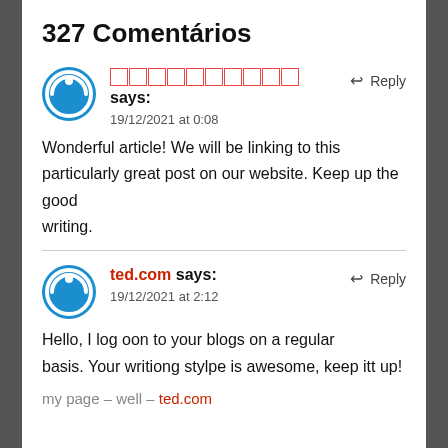327 Comentários
□□□□□□□□□□ says:
19/12/2021 at 0:08
Wonderful article! We will be linking to this particularly great post on our website. Keep up the good writing.
ted.com says:
19/12/2021 at 2:12
Hello, I log oon to your blogs on a regular basis. Your writiong stylpe is awesome, keep itt up!
my page – <well – ted.com>